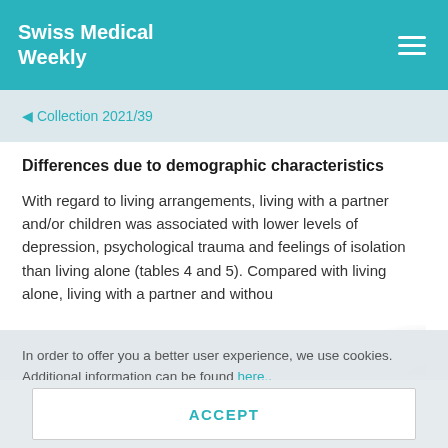Swiss Medical Weekly
◀ Collection 2021/39
Differences due to demographic characteristics
With regard to living arrangements, living with a partner and/or children was associated with lower levels of depression, psychological trauma and feelings of isolation than living alone (tables 4 and 5). Compared with living alone, living with a partner and withou
In order to offer you a better user experience, we use cookies. Additional information can be found here..
ACCEPT